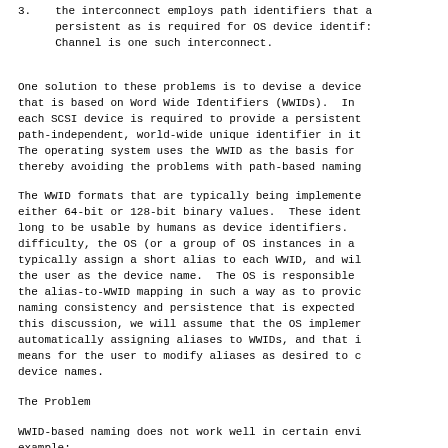3.   the interconnect employs path identifiers that are persistent as is required for OS device identifiers. Fibre Channel is one such interconnect.
One solution to these problems is to devise a device naming scheme that is based on Word Wide Identifiers (WWIDs). In this scheme, each SCSI device is required to provide a persistent, path-independent, world-wide unique identifier in its inquiry data. The operating system uses the WWID as the basis for device naming, thereby avoiding the problems with path-based naming.
The WWID formats that are typically being implemented today are either 64-bit or 128-bit binary values. These identifiers are too long to be usable by humans as device identifiers. To address this difficulty, the OS (or a group of OS instances in a cluster) will typically assign a short alias to each WWID, and will present this to the user as the device name. The OS is responsible for maintaining the alias-to-WWID mapping in such a way as to provide the device naming consistency and persistence that is expected by users. For this discussion, we will assume that the OS implements a scheme for automatically assigning aliases to WWIDs, and that it also provides a means for the user to modify aliases as desired to customize device names.
The Problem
WWID-based naming does not work well in certain environments. For example: